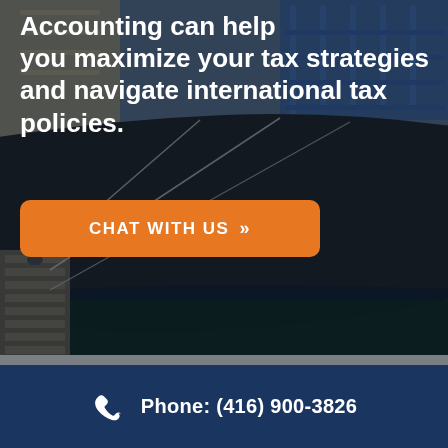[Figure (photo): Ship hull docked at an industrial shipyard with metal scaffolding and equipment in the background.]
Accounting can help you maximize your tax strategies and navigate international tax policies.
CHAT WITH US »
Phone: (416) 900-3826